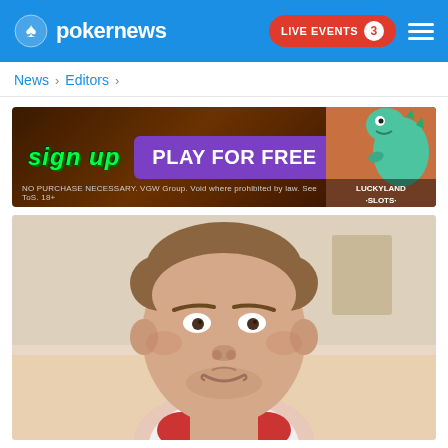pokernews — LIVE EVENTS 3
News > Editors >
[Figure (photo): Advertisement banner for LuckyLand Slots: 'SIGN UP PLAY FOR FREE' with cartoon dinosaur. Footer text: NO PURCHASE NECESSARY. VGW Group. Void where prohibited by law. See ToS. 18+]
[Figure (photo): Close-up headshot of a young man with short brown hair, smiling slightly, light blurred background — editor profile photo]